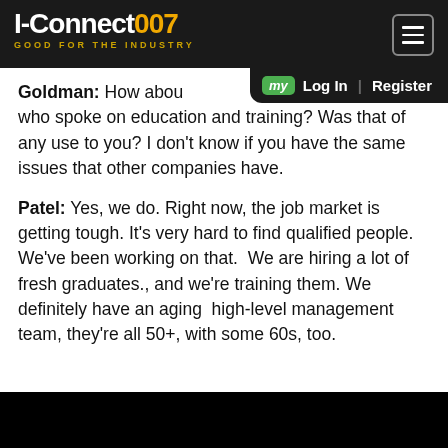I-Connect007 GOOD FOR THE INDUSTRY
Goldman: How about [the speaker] who spoke on education and training? Was that of any use to you? I don't know if you have the same issues that other companies have.
Patel: Yes, we do. Right now, the job market is getting tough. It's very hard to find qualified people. We've been working on that. We are hiring a lot of fresh graduates., and we're training them. We definitely have an aging high-level management team, they're all 50+, with some 60s, too.